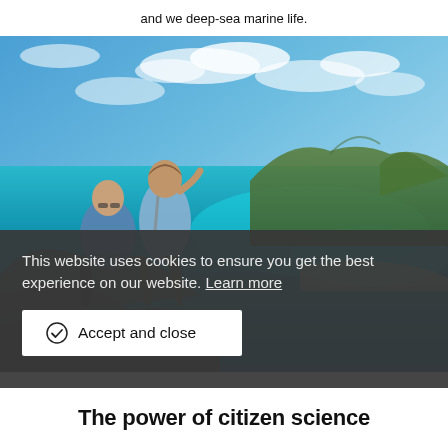and we deep-sea marine life.
[Figure (photo): Two people (a man and a woman) sitting on rocks on a hilltop with a scenic view of a tropical coastline, turquoise lagoon, and islands in the background under a partly cloudy blue sky.]
This website uses cookies to ensure you get the best experience on our website. Learn more
Accept and close
The power of citizen science